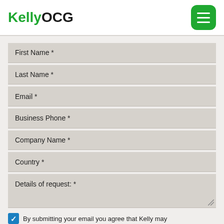KellyOCG
First Name *
Last Name *
Email *
Business Phone *
Company Name *
Country *
Details of request: *
By submitting your email you agree that Kelly may